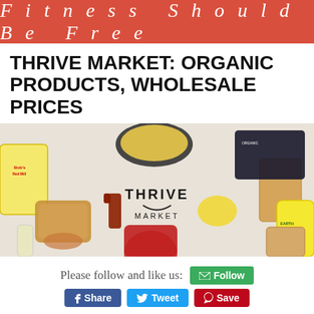Fitness Should Be Free
THRIVE MARKET: ORGANIC PRODUCTS, WHOLESALE PRICES
[Figure (photo): Flat-lay photo of various organic food products on a white background with the Thrive Market logo in the center. Products include Bob's Red Mill flour, pasta, bread, a lemon, jars, nuts, granola bars, blueberries, and canned goods.]
Please follow and like us:
Hi Everyone!